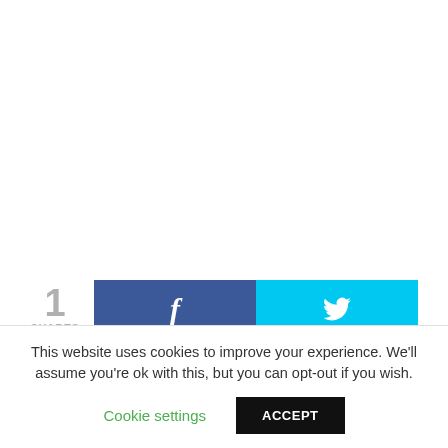[Figure (other): Social share bar with count '1 SHARES', Facebook button with 'f' icon, Twitter button with bird icon]
Eve will star in and write the music for new TV show
This website uses cookies to improve your experience. We'll assume you're ok with this, but you can opt-out if you wish.
Cookie settings    ACCEPT